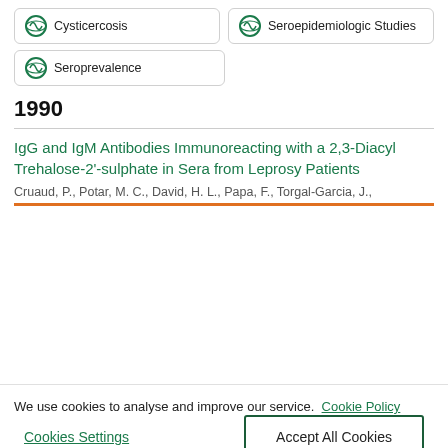Cysticercosis
Seroepidemiologic Studies
Seroprevalence
1990
IgG and IgM Antibodies Immunoreacting with a 2,3-Diacyl Trehalose-2'-sulphate in Sera from Leprosy Patients
Cruaud, P., Potar, M. C., David, H. L., Papa, F., Torgal-Garcia, J.,
We use cookies to analyse and improve our service. Cookie Policy
Cookies Settings
Accept All Cookies